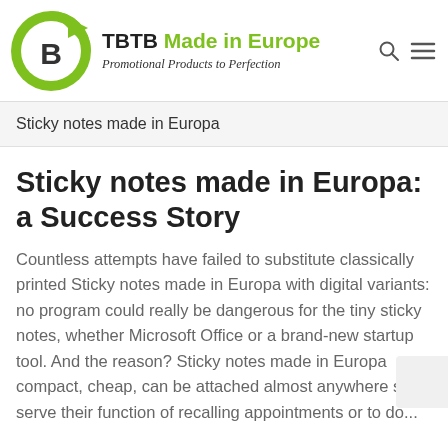[Figure (logo): TBTB circular green logo with stylized B letter and arrow]
TBTB Made in Europe
Promotional Products to Perfection
Sticky notes made in Europa
Sticky notes made in Europa: a Success Story
Countless attempts have failed to substitute classically printed Sticky notes made in Europa with digital variants: no program could really be dangerous for the tiny sticky notes, whether Microsoft Office or a brand-new startup tool. And the reason? Sticky notes made in Europa compact, cheap, can be attached almost anywhere still serve their function of recalling appointments or to do...